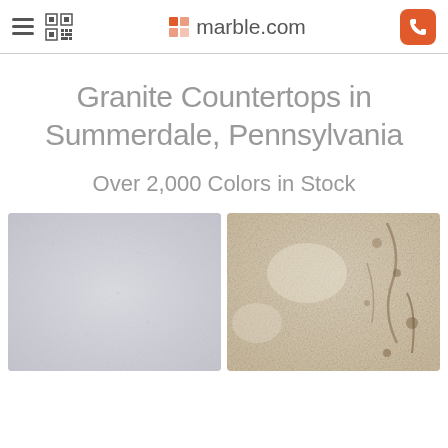marble.com
Granite Countertops in Summerdale, Pennsylvania
Over 2,000 Colors in Stock
[Figure (photo): Light gray/white speckled granite countertop sample]
[Figure (photo): Beige/cream granite countertop sample with darker brown veining]